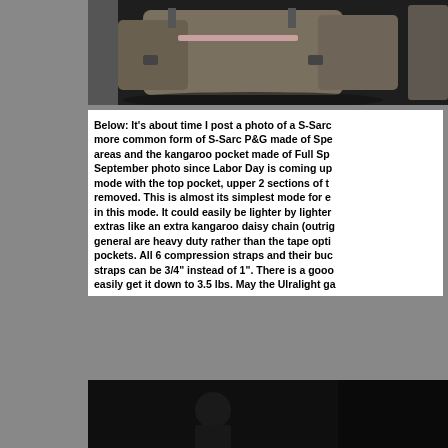[Figure (photo): Photograph of military-style backpacks/rucksacks arranged against a dark background]
Below: It's about time I post a photo of a S-Sarc more common form of S-Sarc P&G made of Spe areas and the kangaroo pocket made of Full Sp September photo since Labor Day is coming up mode with the top pocket, upper 2 sections of t removed. This is almost its simplest mode for e in this mode. It could easily be lighter by lighte extras like an extra kangaroo daisy chain (outri general are heavy duty rather than the tape opti pockets. All 6 compression straps and their buc straps can be 3/4" instead of 1". There is a goo easily get it down to 3.5 lbs. May the Ulralight ga
[Figure (photo): Dark photograph, partially visible, appears to show a person or figure]